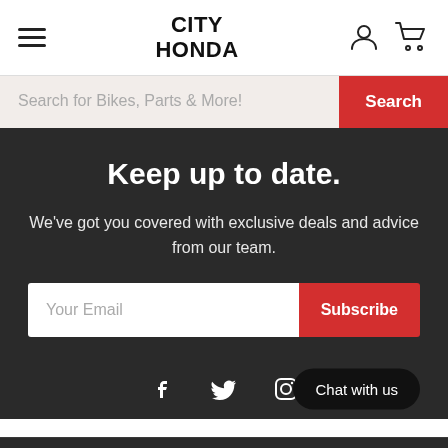[Figure (logo): City Honda logo with hamburger menu, user icon, and cart icon in header]
Search for Bikes, Parts & More!
Keep up to date.
We've got you covered with exclusive deals and advice from our team.
Your Email
[Figure (infographic): Social media icons: Facebook, Twitter, Instagram, and Chat with us button]
Popular Categories